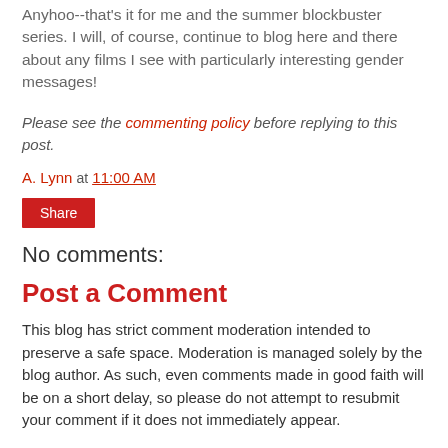Anyhoo--that's it for me and the summer blockbuster series. I will, of course, continue to blog here and there about any films I see with particularly interesting gender messages!
Please see the commenting policy before replying to this post.
A. Lynn at 11:00 AM
Share
No comments:
Post a Comment
This blog has strict comment moderation intended to preserve a safe space. Moderation is managed solely by the blog author. As such, even comments made in good faith will be on a short delay, so please do not attempt to resubmit your comment if it does not immediately appear.